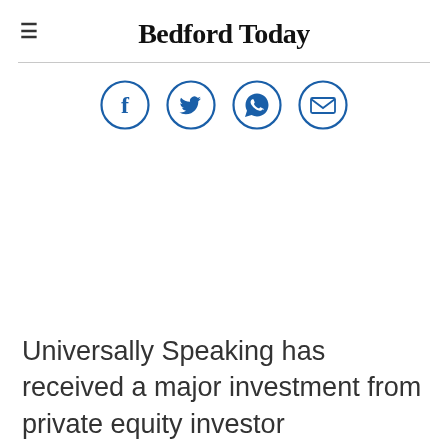Bedford Today
[Figure (infographic): Four social sharing icons in blue circles: Facebook (f), Twitter (bird), WhatsApp (phone handset), Email (envelope)]
Universally Speaking has received a major investment from private equity investor